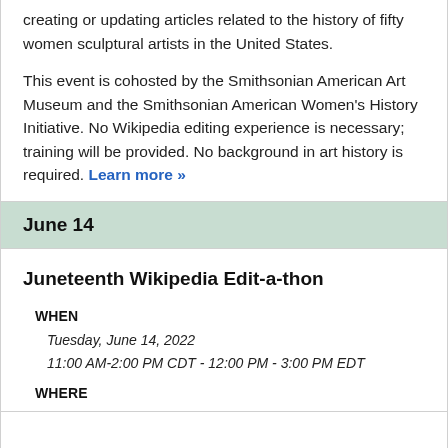creating or updating articles related to the history of fifty women sculptural artists in the United States.
This event is cohosted by the Smithsonian American Art Museum and the Smithsonian American Women's History Initiative. No Wikipedia editing experience is necessary; training will be provided. No background in art history is required. Learn more »
June 14
Juneteenth Wikipedia Edit-a-thon
WHEN
Tuesday, June 14, 2022
11:00 AM-2:00 PM CDT - 12:00 PM - 3:00 PM EDT
WHERE